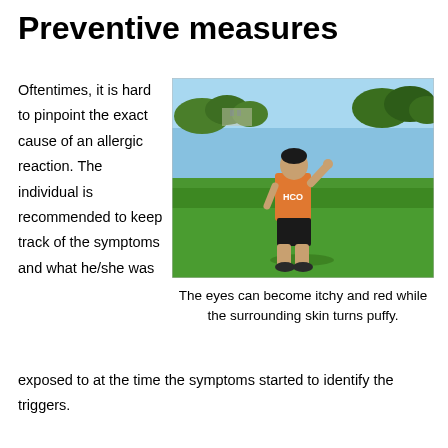Preventive measures
Oftentimes, it is hard to pinpoint the exact cause of an allergic reaction. The individual is recommended to keep track of the symptoms and what he/she was exposed to at the time the symptoms started to identify the triggers.
[Figure (photo): A person wearing an orange HCO tank top and black shorts standing on a green grassy field in a park, shading their eyes with one hand. Trees and a light sky visible in the background.]
The eyes can become itchy and red while the surrounding skin turns puffy.